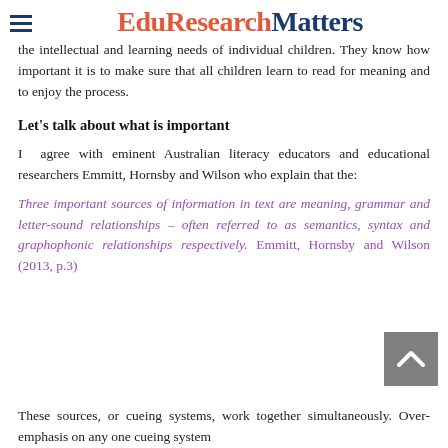EduResearchMatters
the intellectual and learning needs of individual children. They know how important it is to make sure that all children learn to read for meaning and to enjoy the process.
Let's talk about what is important
I agree with eminent Australian literacy educators and educational researchers Emmitt, Hornsby and Wilson who explain that the:
Three important sources of information in text are meaning, grammar and letter-sound relationships – often referred to as semantics, syntax and graphophonic relationships respectively. Emmitt, Hornsby and Wilson (2013, p.3)
These sources, or cueing systems, work together simultaneously. Over-emphasis on any one cueing system